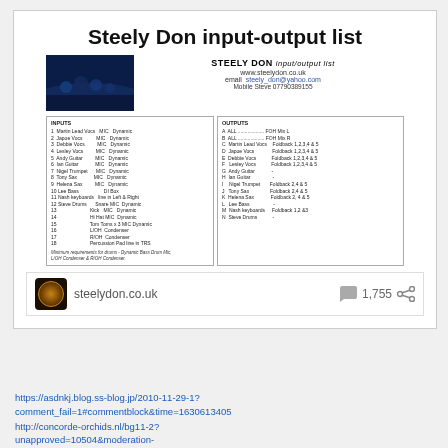Steely Don input-output list
[Figure (screenshot): Screenshot of a Steely Don input/output list document showing band photo, contact info, inputs list (18 channels including Martin Lead Vocs, Japoe Vocs, Debbie Vocs, Lesley Vocs, Andy Guitar, Ian Guitar, Nigel Trumpet, Tony Sax, Helena Sax, Lee Bass, Nash keyboards, Steve Drums), and outputs list (A-N including FOH Mix L, FOH Mix R, various Foldback mixes).]
[Figure (screenshot): Website source bar showing steelydon.co.uk logo, domain name, comment count 1,755 and share icon]
https://asdnkj.blog.ss-blog.jp/2010-11-29-1?comment_fail=1#commentblock&time=1630613405
http://concorde-orchids.nl/bg11-2?unapproved=10504&moderation-